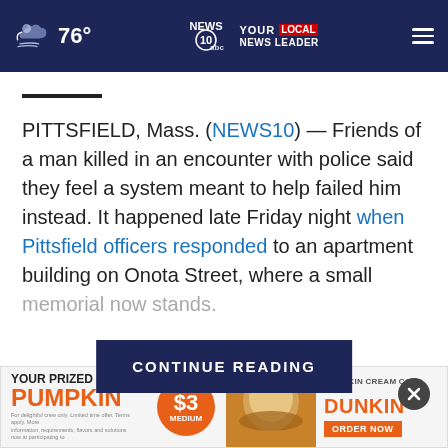76° NEWS10 YOUR LOCAL NEWS LEADER
PITTSFIELD, Mass. (NEWS10) — Friends of a man killed in an encounter with police said they feel a system meant to help failed him instead. It happened late Friday night when Pittsfield officers responded to an apartment building on Onota Street, where a small memorial now stands.
CONTINUE READING
[Figure (screenshot): Dunkin advertisement: YOUR PRIZED PUMPKIN $3 MEDIUM PUMPKIN CREAM COLD BREW DUNKIN ORDER NOW]